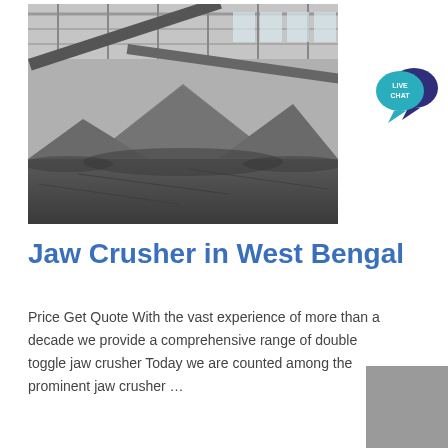[Figure (photo): Black and white photograph of an industrial crushing facility interior showing large piles of crushed stone aggregate on a warehouse floor with conveyor belts overhead]
[Figure (logo): Live Chat button icon: teal speech bubble with LIVE CHAT text and dark blue speech bubble behind it]
Jaw Crusher in West Bengal
Price Get Quote With the vast experience of more than a decade we provide a comprehensive range of double toggle jaw crusher Today we are counted among the prominent jaw crusher …